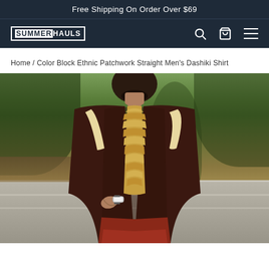Free Shipping On Order Over $69
[Figure (logo): SUMMERHAULS logo in white on dark navy background with white border box]
Home / Color Block Ethnic Patchwork Straight Men's Dashiki Shirt
[Figure (photo): A man wearing a dark maroon/brown Dashiki shirt with gold embroidery at the neckline and cream/beige trim on sleeves, standing outdoors in a park setting with stone steps and trees in background, wearing a watch]